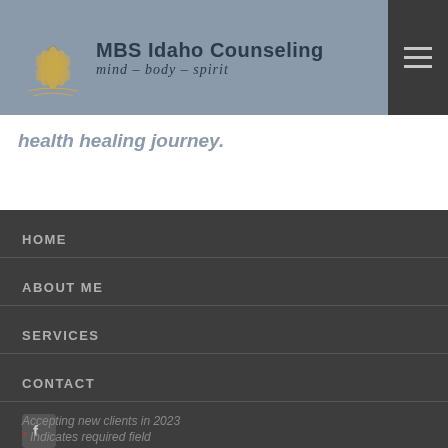MBS Idaho Counseling mind – body – spirit
health healing journey.
HOME
ABOUT ME
SERVICES
CONTACT
[Figure (logo): Facebook icon button]
Accepting new clients in 2023
* Indicates required field